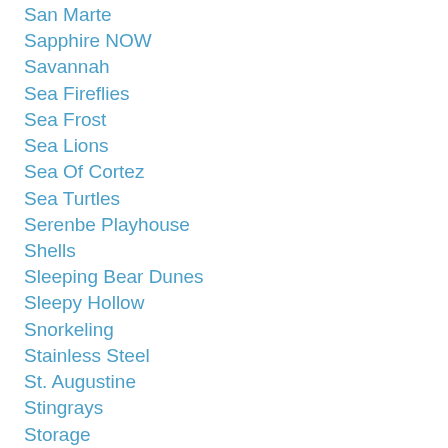San Marte
Sapphire NOW
Savannah
Sea Fireflies
Sea Frost
Sea Lions
Sea Of Cortez
Sea Turtles
Serenbe Playhouse
Shells
Sleeping Bear Dunes
Sleepy Hollow
Snorkeling
Stainless Steel
St. Augustine
Stingrays
Storage
Tacking
Teak
Tennessee
Tequila Factory